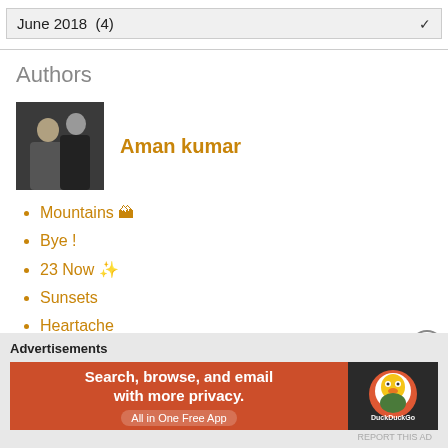June 2018 (4)
Authors
[Figure (photo): Photo of two people (a woman and a man) used as author avatar for Aman kumar]
Aman kumar
Mountains 🏔
Bye !
23 Now ✨
Sunsets
Heartache
Advertisements
[Figure (screenshot): DuckDuckGo advertisement banner: Search, browse, and email with more privacy. All in One Free App]